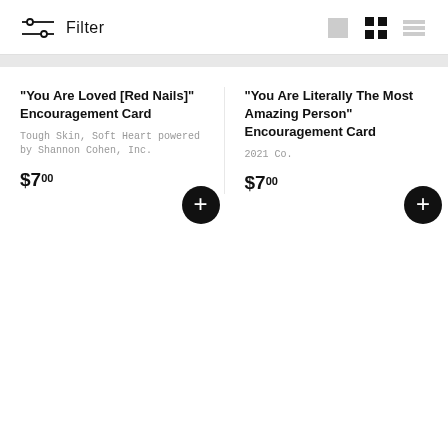Filter
"You Are Loved [Red Nails]" Encouragement Card
Tough Skin, Soft Heart powered by Shannon Cohen, Inc.
$7.00
"You Are Literally The Most Amazing Person" Encouragement Card
2021 Co.
$7.00